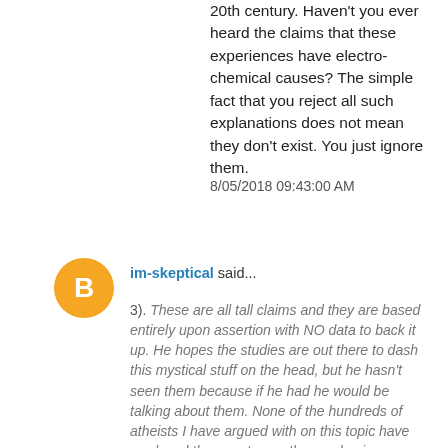20th century. Haven't you ever heard the claims that these experiences have electro-chemical causes? The simple fact that you reject all such explanations does not mean they don't exist. You just ignore them.
8/05/2018 09:43:00 AM
[Figure (illustration): Orange circle avatar with white letter B in the center, representing a Blogger user profile icon]
im-skeptical said...
3). These are all tall claims and they are based entirely upon assertion with NO data to back it up. He hopes the studies are out there to dash this mystical stuff on the head, but he hasn't seen them because if he had he would be talking about them. None of the hundreds of atheists I have argued with on this topic have produced them, not even the academic psychologists who argue with Dr. Hood. The closest study I've seen to this was the Borg study (that's her real name she is from Sweden). I tore that study to pieces, it's in my book. The score they used to measure mystical experience was not deigned for that but for mental illness. They assumed religious experience was mental illness so they didn't